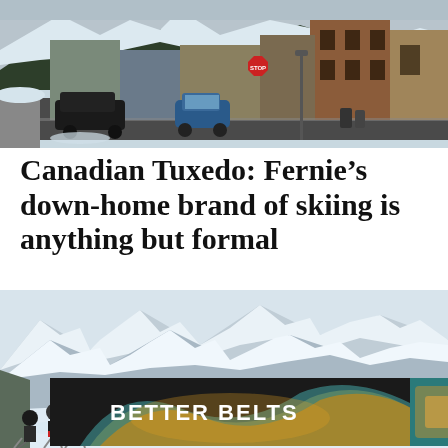[Figure (photo): Winter street scene in Fernie, BC with snow-covered road, parked cars, brick buildings and pine trees on hillside]
Canadian Tuxedo: Fernie’s down-home brand of skiing is anything but formal
[Figure (photo): Three skiers standing on a snowy slope looking out at large snow-covered mountain peaks under a pale sky]
[Figure (photo): Advertisement banner: BETTER BELTS by ARCADE, showing colorful woven belt ribbons in gold, teal and orange swirl pattern]